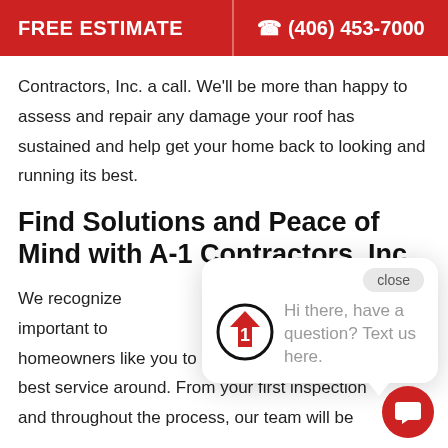FREE ESTIMATE   (406) 453-7000
Contractors, Inc. a call. We'll be more than happy to assess and repair any damage your roof has sustained and help get your home back to looking and running its best.
Find Solutions and Peace of Mind with A-1 Contractors, Inc.
We recognize important to homeowners like you to make sure they get the best service around. From your first inspection and throughout the process, our team will be
[Figure (screenshot): Chat popup widget showing A-1 Contractors logo (circle with upward arrow and number 1) and message 'Hi there, have a question? Text us here.' with a close button and a red chat bubble button in the bottom right corner.]